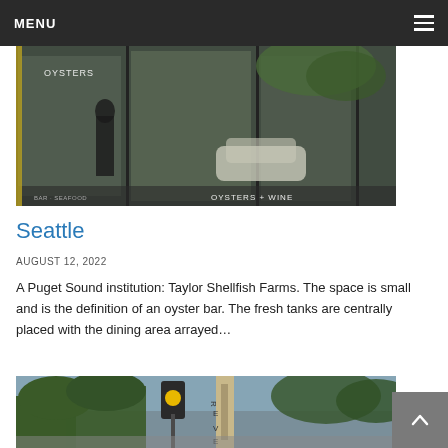MENU
[Figure (photo): Exterior of Taylor Shellfish Farms oyster bar with large glass windows reflecting street scene, cars and trees visible, text 'OYSTERS' and 'OYSTERS + WINE' on windows]
Seattle
AUGUST 12, 2022
A Puget Sound institution: Taylor Shellfish Farms. The space is small and is the definition of an oyster bar. The fresh tanks are centrally placed with the dining area arrayed…
[Figure (photo): Street scene with trees and a sign partially visible reading 'REVE' or similar, yellow traffic signal in foreground]